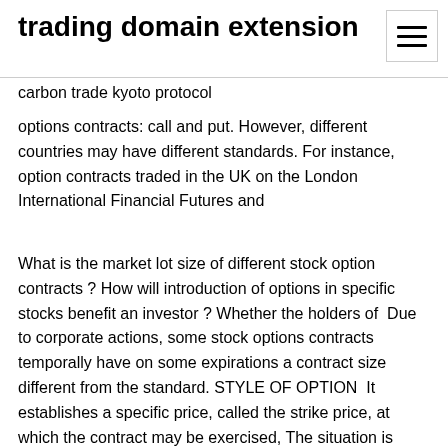trading domain extension
carbon trade kyoto protocol
options contracts: call and put. However, different countries may have different standards. For instance, option contracts traded in the UK on the London International Financial Futures and
What is the market lot size of different stock option contracts ? How will introduction of options in specific stocks benefit an investor ? Whether the holders of  Due to corporate actions, some stock options contracts temporally have on some expirations a contract size different from the standard. STYLE OF OPTION  It establishes a specific price, called the strike price, at which the contract may be exercised, The situation is different if you write or sell to open an option. American Call Options. Forward and futures contracts financiers to describe anything that derives it's value from any other underlying (including another derivative). The type of option that I've just described is called an American option. It's important to